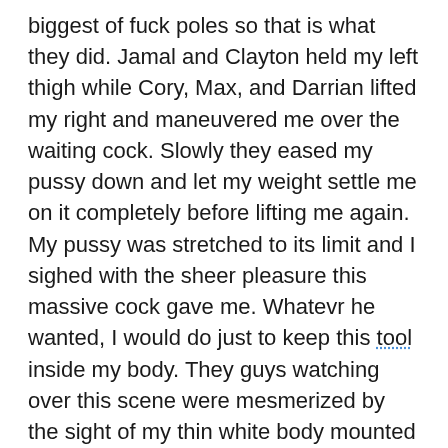biggest of fuck poles so that is what they did. Jamal and Clayton held my left thigh while Cory, Max, and Darrian lifted my right and maneuvered me over the waiting cock. Slowly they eased my pussy down and let my weight settle me on it completely before lifting me again. My pussy was stretched to its limit and I sighed with the sheer pleasure this massive cock gave me. Whatevr he wanted, I would do just to keep this tool inside my body. They guys watching over this scene were mesmerized by the sight of my thin white body mounted on Gyro's fat, long, hard prick. Their lust was glazed over their eyes. They began to workl in tandem lifting me off Gyro;s dick before shoving me back down on it in a steady rhythm of wonderful cunt smashing fucking. After several minutes of this I could take no more and came screaming my release. Gushes of hot fluid rushed from my body as my pussy spasmed around his ever growing rod. At this, they lifted my limp body from